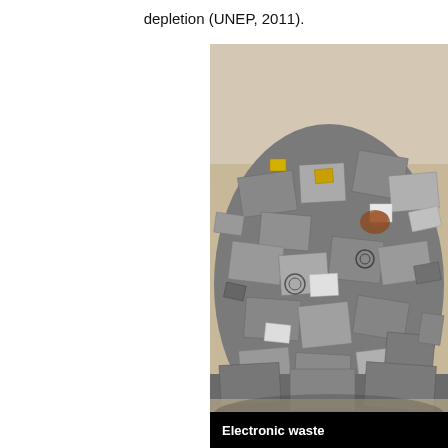depletion (UNEP, 2011).
[Figure (photo): A large pile of electronic waste (e-waste) consisting of discarded computer cases, metal components, and various electronic hardware parts stacked in a heap. The image has a black caption bar at the bottom reading 'Electronic waste'.]
Electronic waste